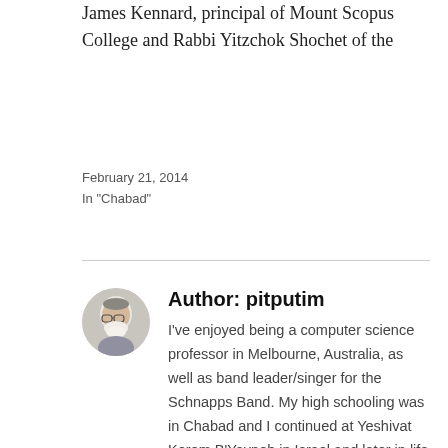James Kennard, principal of Mount Scopus College and Rabbi Yitzchok Shochet of the
February 21, 2014
In "Chabad"
[Figure (photo): Circular avatar photo of the author pitputim, an older man with glasses and a white beard]
Author: pitputim
I've enjoyed being a computer science professor in Melbourne, Australia, as well as band leader/singer for the Schnapps Band. My high schooling was in Chabad and I continued at Yeshivat Kerem B'Yavneh in Israel and later in life at Machon L'Hora'ah, Yeshivas Halichos Olam.